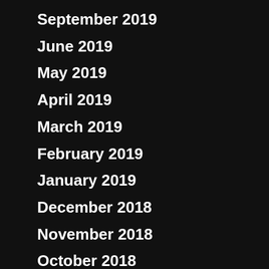September 2019
June 2019
May 2019
April 2019
March 2019
February 2019
January 2019
December 2018
November 2018
October 2018
September 2018
August 2018
July 2018
June 2018
May 2018
April 2018
March 2018